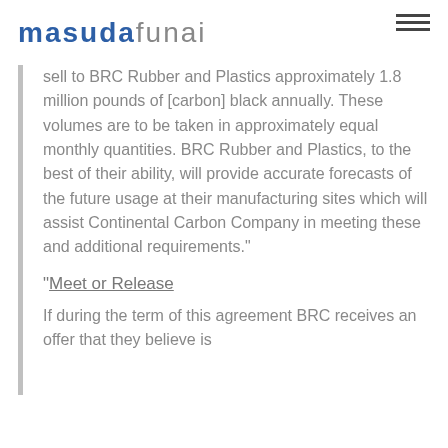masudafunai
sell to BRC Rubber and Plastics approximately 1.8 million pounds of [carbon] black annually. These volumes are to be taken in approximately equal monthly quantities. BRC Rubber and Plastics, to the best of their ability, will provide accurate forecasts of the future usage at their manufacturing sites which will assist Continental Carbon Company in meeting these and additional requirements."
"Meet or Release
If during the term of this agreement BRC receives an offer that they believe is